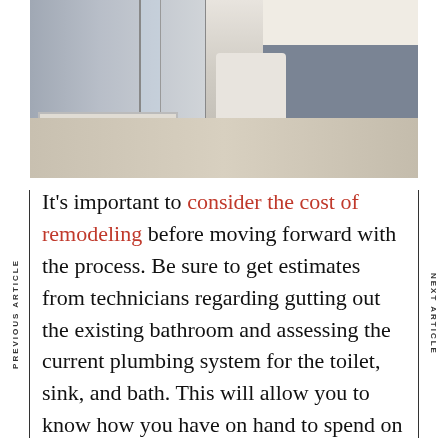[Figure (photo): A modern bathroom interior featuring a glass shower enclosure, a soaking tub with matte black fixtures, a toilet, and a double vanity with blue-grey cabinets and white countertop with matte black hardware.]
It's important to consider the cost of remodeling before moving forward with the process. Be sure to get estimates from technicians regarding gutting out the existing bathroom and assessing the current plumbing system for the toilet, sink, and bath. This will allow you to know how you have on hand to spend on desired elements of your new bathroom. If you are planning on changing lighting and wiring in the bathroom, you'll need to bring in a licensed electrician as well. Layout all of the desired changes you want